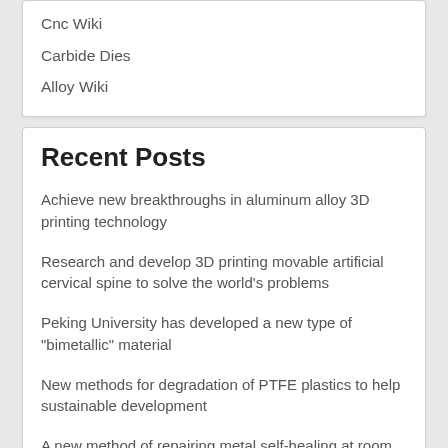Cnc Wiki
Carbide Dies
Alloy Wiki
Recent Posts
Achieve new breakthroughs in aluminum alloy 3D printing technology
Research and develop 3D printing movable artificial cervical spine to solve the world's problems
Peking University has developed a new type of "bimetallic" material
New methods for degradation of PTFE plastics to help sustainable development
A new method of repairing metal self-healing at room temperature
Research and develop high-end aluminum alloy production equipment to break the monopoly
The 3D printed medical device market will grow by 17.7% CAGR by 2025